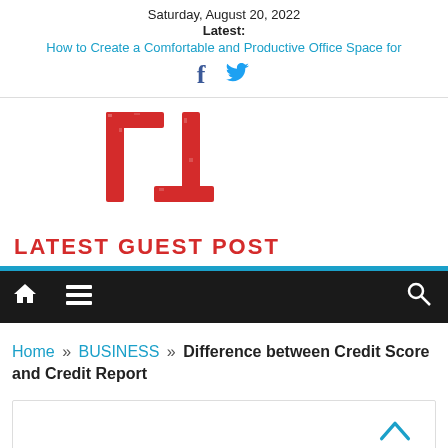Saturday, August 20, 2022
Latest:
How to Create a Comfortable and Productive Office Space for
[Figure (logo): Facebook and Twitter social icons]
[Figure (logo): Latest Guest Post logo — red angular TL monogram with text LATEST GUEST POST below]
[Figure (infographic): Dark navigation bar with home icon, hamburger menu icon, and search icon]
Home » BUSINESS » Difference between Credit Score and Credit Report